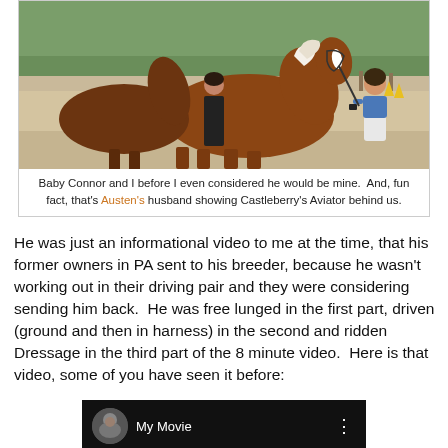[Figure (photo): Photo of Baby Connor (a chestnut horse with white mane) being held by a woman in a blue shirt and light pants, with a man showing another horse behind them, in an outdoor arena setting with trees in the background.]
Baby Connor and I before I even considered he would be mine.  And, fun fact, that's Austen's husband showing Castleberry's Aviator behind us.
He was just an informational video to me at the time, that his former owners in PA sent to his breeder, because he wasn't working out in their driving pair and they were considering sending him back.  He was free lunged in the first part, driven (ground and then in harness) in the second and ridden Dressage in the third part of the 8 minute video.  Here is that video, some of you have seen it before:
[Figure (screenshot): Video thumbnail showing a dark/black background with a circular profile image of a horse and rider, and the text 'My Movie' in white.]